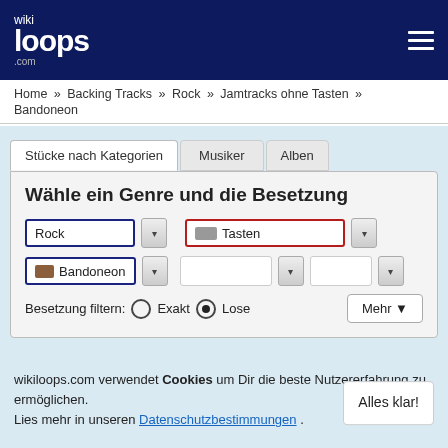[Figure (logo): wikiloops.com logo in white text on dark navy header]
wikiloops.com navigation header with hamburger menu
Home » Backing Tracks » Rock » Jamtracks ohne Tasten » Bandoneon
Wähle ein Genre und die Besetzung
Rock [dropdown] | Tasten [dropdown]
Bandoneon [dropdown] | [empty dropdown] | [empty dropdown]
Besetzung filtern: ( ) Exakt (•) Lose   Mehr ▼
wikiloops.com verwendet Cookies um Dir die beste Nutzererfahrung zu ermöglichen. Lies mehr in unseren Datenschutzbestimmungen .